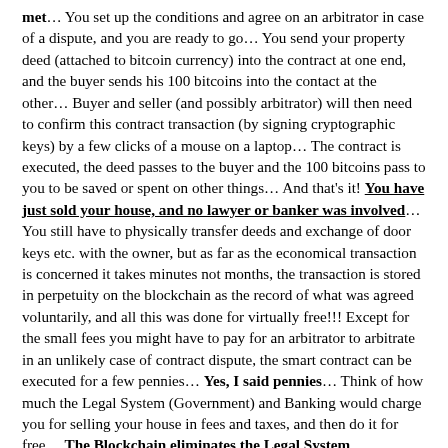met… You set up the conditions and agree on an arbitrator in case of a dispute, and you are ready to go… You send your property deed (attached to bitcoin currency) into the contract at one end, and the buyer sends his 100 bitcoins into the contact at the other… Buyer and seller (and possibly arbitrator) will then need to confirm this contract transaction (by signing cryptographic keys) by a few clicks of a mouse on a laptop… The contract is executed, the deed passes to the buyer and the 100 bitcoins pass to you to be saved or spent on other things… And that's it! You have just sold your house, and no lawyer or banker was involved… You still have to physically transfer deeds and exchange of door keys etc. with the owner, but as far as the economical transaction is concerned it takes minutes not months, the transaction is stored in perpetuity on the blockchain as the record of what was agreed voluntarily, and all this was done for virtually free!!! Except for the small fees you might have to pay for an arbitrator to arbitrate in an unlikely case of contract dispute, the smart contract can be executed for a few pennies… Yes, I said pennies… Think of how much the Legal System (Government) and Banking would charge you for selling your house in fees and taxes, and then do it for free… The Blockchain eliminates the Legal System (Government) and Banking and their colossal waste and share of the economy